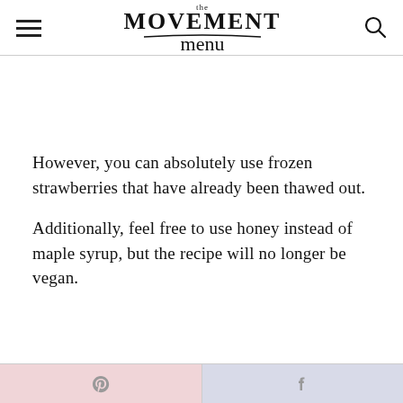the MOVEMENT menu
However, you can absolutely use frozen strawberries that have already been thawed out.
Additionally, feel free to use honey instead of maple syrup, but the recipe will no longer be vegan.